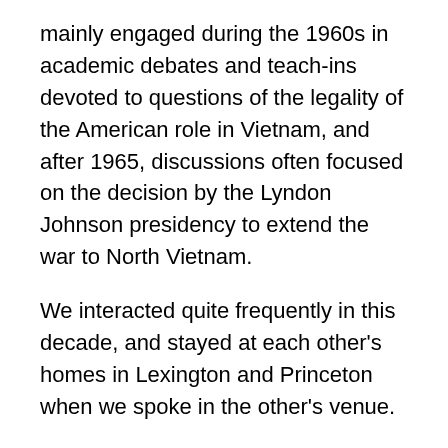mainly engaged during the 1960s in academic debates and teach-ins devoted to questions of the legality of the American role in Vietnam, and after 1965, discussions often focused on the decision by the Lyndon Johnson presidency to extend the war to North Vietnam.
We interacted quite frequently in this decade, and stayed at each other's homes in Lexington and Princeton when we spoke in the other's venue.
I recall Chomsky insisting in response to an invitation from the Princeton Philosophy Department that he would only agree to give a series of lectures on linguistics that was the nature of the invitation if his hosts would also arrange parallel formats for him to address his political concerns. He was worth for more than this condition of his...